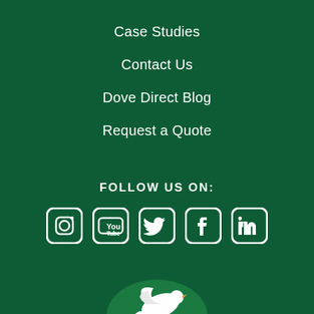Case Studies
Contact Us
Dove Direct Blog
Request a Quote
FOLLOW US ON:
[Figure (logo): Social media icons: Instagram, YouTube, Twitter, Facebook, LinkedIn]
[Figure (logo): Dove Direct logo with white dove and green/gold circular design]